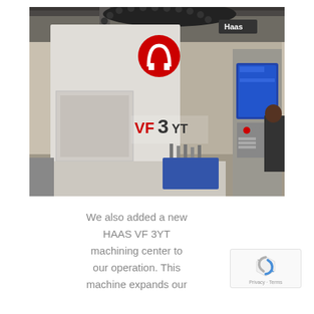[Figure (photo): A Haas VF-3YT CNC vertical machining center in an industrial shop floor setting. The machine is white/grey with a prominent red Haas logo and 'VF 3YT' label on the front. The machine has a tool carousel visible at the top, a control panel with blue screen on the right side, and various machining tools on the table. Industrial overhead lighting and concrete block walls are visible in the background.]
We also added a new HAAS VF 3YT machining center to our operation. This machine expands our